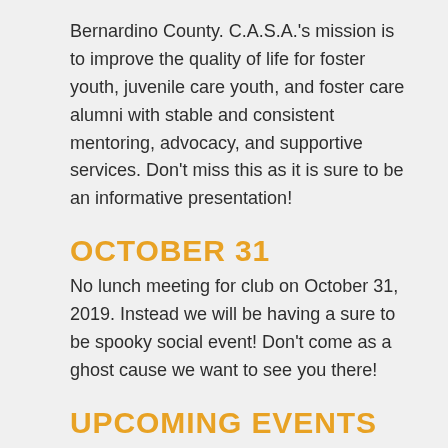Bernardino County. C.A.S.A.'s mission is to improve the quality of life for foster youth, juvenile care youth, and foster care alumni with stable and consistent mentoring, advocacy, and supportive services. Don't miss this as it is sure to be an informative presentation!
OCTOBER 31
No lunch meeting for club on October 31, 2019. Instead we will be having a sure to be spooky social event! Don't come as a ghost cause we want to see you there!
UPCOMING EVENTS
October 27 – DTR Artwalk